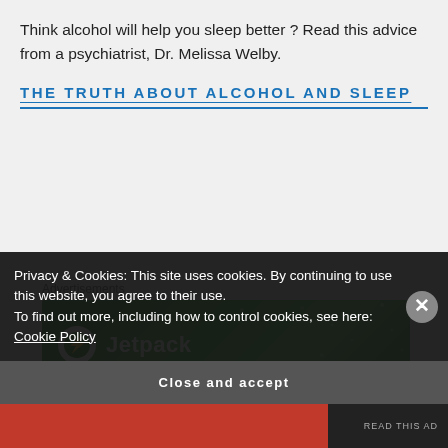Think alcohol will help you sleep better? Read this advice from a psychiatrist, Dr. Melissa Welby.
THE TRUTH ABOUT ALCOHOL AND SLEEP
Advertisements
[Figure (other): Green advertisement banner for Jetpack plugin showing circular logo and brand name]
Privacy & Cookies: This site uses cookies. By continuing to use this website, you agree to their use.
To find out more, including how to control cookies, see here: Cookie Policy
Close and accept